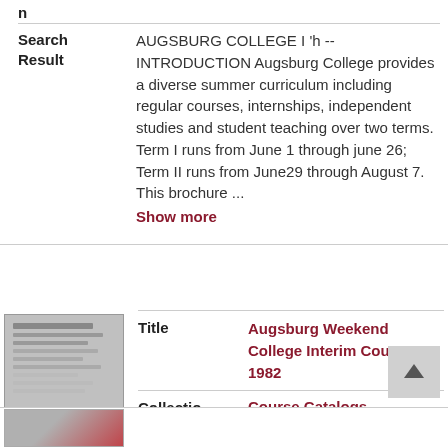n
| Field | Value |
| --- | --- |
| Search Result | AUGSBURG COLLEGE I 'h -- INTRODUCTION Augsburg College provides a diverse summer curriculum including regular courses, internships, independent studies and student teaching over two terms. Term I runs from June 1 through june 26; Term II runs from June29 through August 7. This brochure ... Show more |
[Figure (photo): Thumbnail image of a document page, gray tones]
| Field | Value |
| --- | --- |
| Title | Augsburg Weekend College Interim Courses, 1982 |
| Collection | Course Catalogs |
| Search Result |  |
[Figure (photo): Partial thumbnail image at bottom, gray and red tones]